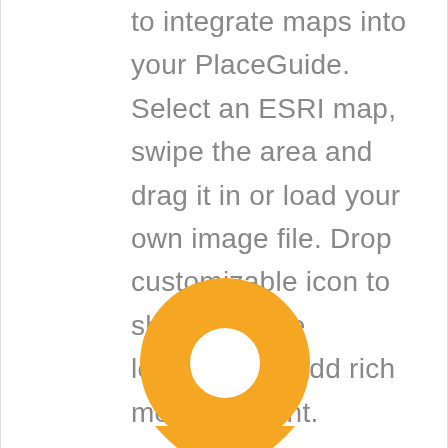to integrate maps into your PlaceGuide. Select an ESRI map, swipe the area and drag it in or load your own image file. Drop customizable icon to showcase the location and add rich media content.
[Figure (illustration): Orange map location pin icon with a circular hole in the center, partially cropped at the bottom of the page]